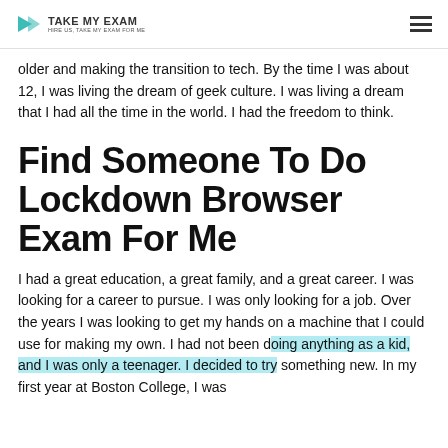TAKE MY EXAM
older and making the transition to tech. By the time I was about 12, I was living the dream of geek culture. I was living a dream that I had all the time in the world. I had the freedom to think.
Find Someone To Do Lockdown Browser Exam For Me
I had a great education, a great family, and a great career. I was looking for a career to pursue. I was only looking for a job. Over the years I was looking to get my hands on a machine that I could use for making my own. I had not been doing anything as a kid, and I was only a teenager. I decided to try something new. In my first year at Boston College, I was